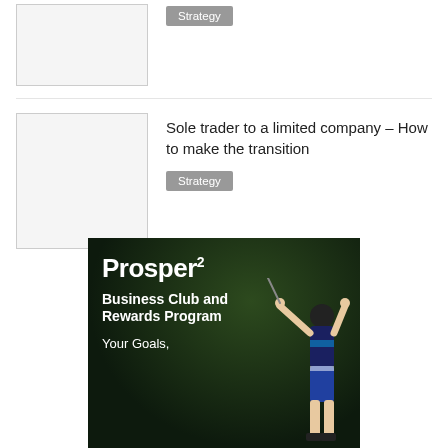[Figure (illustration): Thumbnail image placeholder (white/light grey box with border)]
Strategy
[Figure (illustration): Thumbnail image placeholder (white/light grey box with border)]
Sole trader to a limited company – How to make the transition
Strategy
[Figure (photo): Advertisement photo: golfer swinging club against dark tree background with text: Prosper² Business Club and Rewards Program Your Goals,]